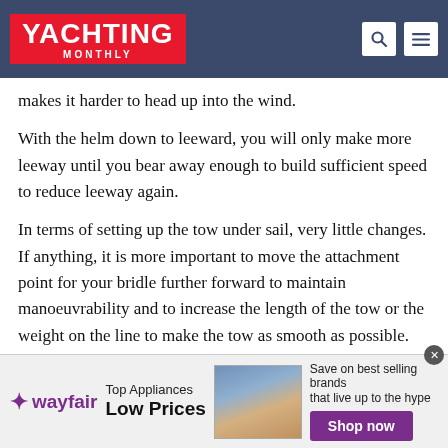YACHTING MONTHLY
makes it harder to head up into the wind.
With the helm down to leeward, you will only make more leeway until you bear away enough to build sufficient speed to reduce leeway again.
In terms of setting up the tow under sail, very little changes. If anything, it is more important to move the attachment point for your bridle further forward to maintain manoeuvrability and to increase the length of the tow or the weight on the line to make the tow as smooth as possible.
Realistically this is best done on a reach. Upwind the drag
[Figure (screenshot): Wayfair advertisement banner: Top Appliances Low Prices, Save on best selling brands that live up to the hype, Shop now button]